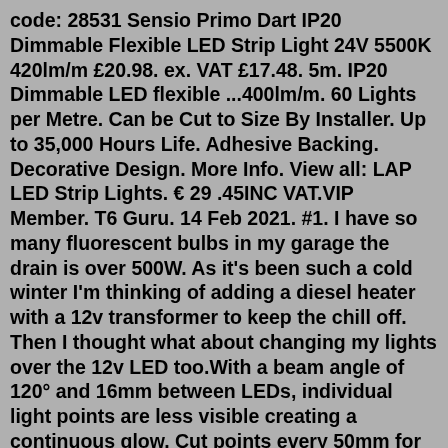code: 28531 Sensio Primo Dart IP20 Dimmable Flexible LED Strip Light 24V 5500K 420lm/m £20.98. ex. VAT £17.48. 5m. IP20 Dimmable LED flexible ...400lm/m. 60 Lights per Metre. Can be Cut to Size By Installer. Up to 35,000 Hours Life. Adhesive Backing. Decorative Design. More Info. View all: LAP LED Strip Lights. € 29 .45INC VAT.VIP Member. T6 Guru. 14 Feb 2021. #1. I have so many fluorescent bulbs in my garage the drain is over 500W. As it's been such a cold winter I'm thinking of adding a diesel heater with a 12v transformer to keep the chill off. Then I thought what about changing my lights over the 12v LED too.With a beam angle of 120° and 16mm between LEDs, individual light points are less visible creating a continuous glow. Cut points every 50mm for maximum flexibility of length. Comes with 1.5m flex (to connect to the driver) and 0.3m tail attached (in case multiple strips need to be connected). 12V DC constant voltage LED driver required. Low Profile12mm LED Tape KitWeatherproof IP65 RGB - 5 Mtr - Retail boxed...